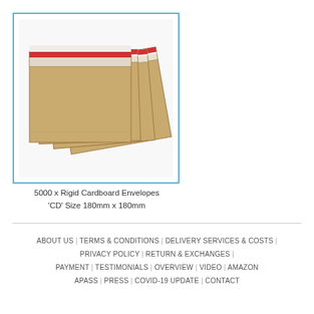[Figure (photo): Stack of brown rigid cardboard envelopes with white peel-and-seal strips and red tear strips, fanned out to show multiple envelopes]
5000 x Rigid Cardboard Envelopes 'CD' Size 180mm x 180mm
ABOUT US | TERMS & CONDITIONS | DELIVERY SERVICES & COSTS | PRIVACY POLICY | RETURN & EXCHANGES | PAYMENT | TESTIMONIALS | OVERVIEW | VIDEO | AMAZON | APASS | PRESS | COVID-19 UPDATE | CONTACT